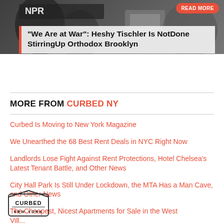[Figure (photo): Background photo showing people working, partially visible, with a 'READ MORE' button in orange/red at top right]
"We Are at War": Heshy Tischler Is NotDone StirringUp Orthodox Brooklyn
MORE FROM CURBED NY
Curbed Is Moving to New York Magazine
We Unearthed the 68 Best Rent Deals in NYC Right Now
Landlords Lose Fight Against Rent Protections, Hotel Chelsea's Latest Tenant Battle, and Other News
City Hall Park Is Still Under Lockdown, the MTA Has a Man Cave, and Other News
The Cheapest, Nicest Apartments for Sale in the West ...
[Figure (logo): Curbed New York logo — house-shaped icon with CURBED text and NEW YORK below]